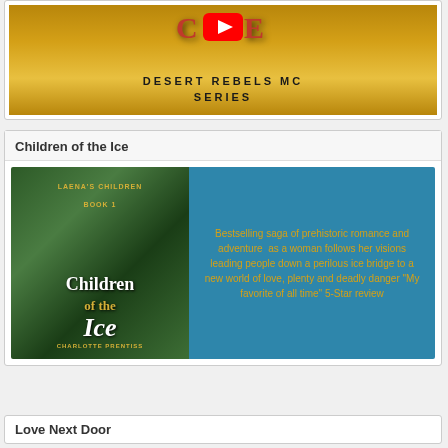[Figure (screenshot): YouTube video thumbnail for Desert Rebels MC Series showing golden desert sky background with play button and text 'DESERT REBELS MC SERIES']
Children of the Ice
[Figure (illustration): Book advertisement banner for 'Children of the Ice' by Charlotte Prentiss (Laena's Children Book 1). Left half shows book cover with forest/prehistoric scene and woman. Right half is teal/blue background with orange text: Bestselling saga of prehistoric romance and adventure  as a woman follows her visions leading people down a perilous ice bridge to a new world of love, plenty and deadly danger "My favorite of all time" 5-Star review]
Love Next Door